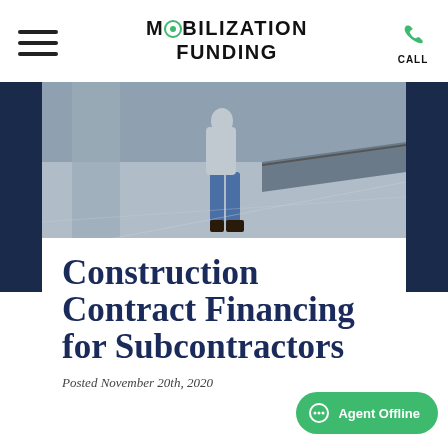MOBILIZATION FUNDING
[Figure (photo): Person standing on a concrete construction site floor viewed from behind, wearing jeans and boots, with a column and industrial drainage channel visible]
Construction Contract Financing for Subcontractors
Posted November 20th, 2020